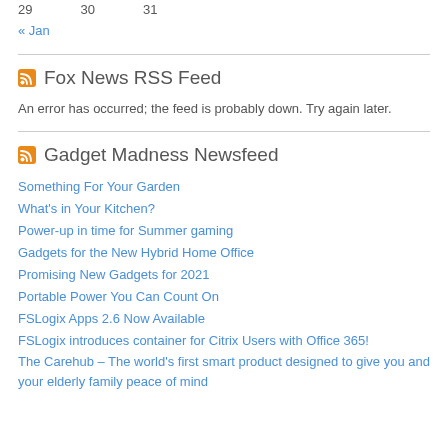29   30   31
« Jan
Fox News RSS Feed
An error has occurred; the feed is probably down. Try again later.
Gadget Madness Newsfeed
Something For Your Garden
What's in Your Kitchen?
Power-up in time for Summer gaming
Gadgets for the New Hybrid Home Office
Promising New Gadgets for 2021
Portable Power You Can Count On
FSLogix Apps 2.6 Now Available
FSLogix introduces container for Citrix Users with Office 365!
The Carehub – The world's first smart product designed to give you and your elderly family peace of mind